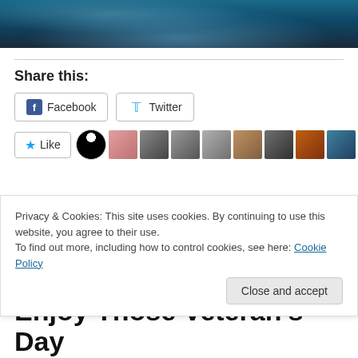[Figure (photo): Hero image with dark blue/teal abstract background, partial view at top of page]
Share this:
Facebook
Twitter
[Figure (other): Like button followed by row of user avatars including yin-yang symbol, profile photos, and a music note icon]
Privacy & Cookies: This site uses cookies. By continuing to use this website, you agree to their use.
To find out more, including how to control cookies, see here: Cookie Policy
Close and accept
Enjoy Those Veteran's Day